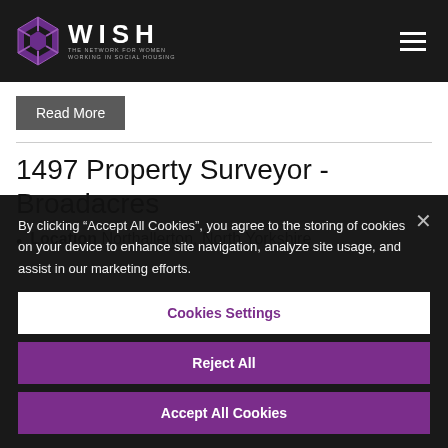WISH - The Network for Women Working in Social Housing
Read More
1497 Property Surveyor - Broadacres
Location Northallerton, North Yorkshire
By clicking “Accept All Cookies”, you agree to the storing of cookies on your device to enhance site navigation, analyze site usage, and assist in our marketing efforts.
Cookies Settings
Reject All
Accept All Cookies